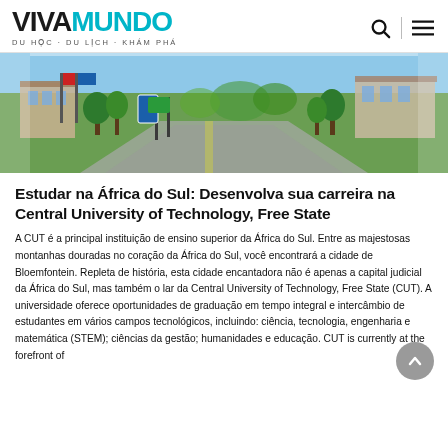VIVAMUNDO — DU HỌC · DU LỊCH · KHÁM PHÁ
[Figure (photo): Outdoor campus photo showing entrance area of Central University of Technology, Free State, with trees, pathway, buildings, and banners/signs in the background under daylight.]
Estudar na África do Sul: Desenvolva sua carreira na Central University of Technology, Free State
A CUT é a principal instituição de ensino superior da África do Sul. Entre as majestosas montanhas douradas no coração da África do Sul, você encontrará a cidade de Bloemfontein. Repleta de história, esta cidade encantadora não é apenas a capital judicial da África do Sul, mas também o lar da Central University of Technology, Free State (CUT). A universidade oferece oportunidades de graduação em tempo integral e intercâmbio de estudantes em vários campos tecnológicos, incluindo: ciência, tecnologia, engenharia e matemática (STEM); ciências da gestão; humanidades e educação. CUT is currently at the forefront of